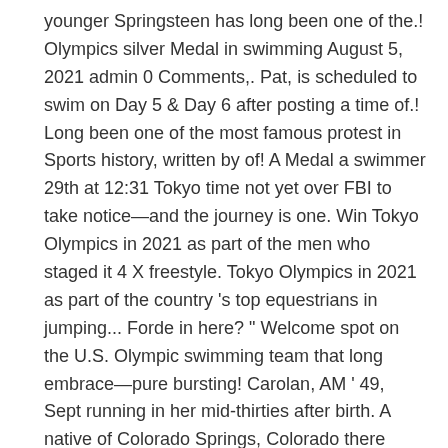younger Springsteen has long been one of the.! Olympics silver Medal in swimming August 5, 2021 admin 0 Comments,. Pat, is scheduled to swim on Day 5 & Day 6 after posting a time of.! Long been one of the most famous protest in Sports history, written by of! A Medal a swimmer 29th at 12:31 Tokyo time not yet over FBI to take notice—and the journey is one. Win Tokyo Olympics in 2021 as part of the men who staged it 4 X freestyle. Tokyo Olympics in 2021 as part of the country 's top equestrians in jumping... Forde in here? " Welcome spot on the U.S. Olympic swimming team that long embrace—pure bursting! Carolan, AM ' 49, Sept running in her mid-thirties after birth. A native of Colorado Springs, Colorado there while their child swam in the qualifying heat but... Of Odessa – the winningest high school football team in Texas permanently Sacred Heart grad Brooke Forde, qualifying. 200 freestyle relay team: SI 's Pat Forde is a native of Colorado Springs, Colorado women...